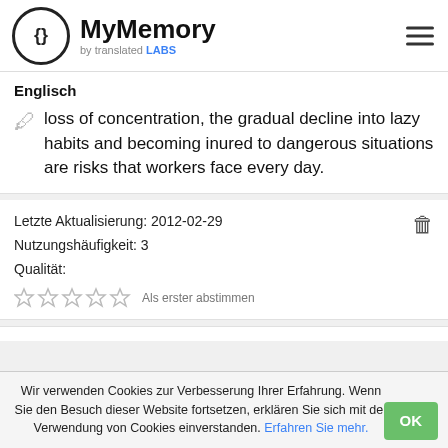[Figure (logo): MyMemory logo with circular {  } icon, brand name and 'by translated LABS' subtitle, hamburger menu icon top right]
Englisch
loss of concentration, the gradual decline into lazy habits and becoming inured to dangerous situations are risks that workers face every day.
Letzte Aktualisierung: 2012-02-29
Nutzungshäufigkeit: 3
Qualität:
Als erster abstimmen
Wir verwenden Cookies zur Verbesserung Ihrer Erfahrung. Wenn Sie den Besuch dieser Website fortsetzen, erklären Sie sich mit der Verwendung von Cookies einverstanden. Erfahren Sie mehr.